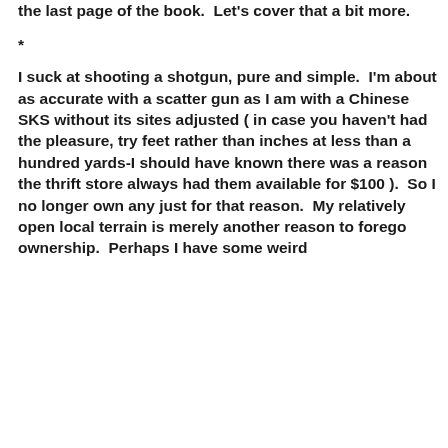the last page of the book.  Let's cover that a bit more.
*
I suck at shooting a shotgun, pure and simple.  I'm about as accurate with a scatter gun as I am with a Chinese SKS without its sites adjusted ( in case you haven't had the pleasure, try feet rather than inches at less than a hundred yards-I should have known there was a reason the thrift store always had them available for $100 ).  So I no longer own any just for that reason.  My relatively open local terrain is merely another reason to forego ownership.  Perhaps I have some weird